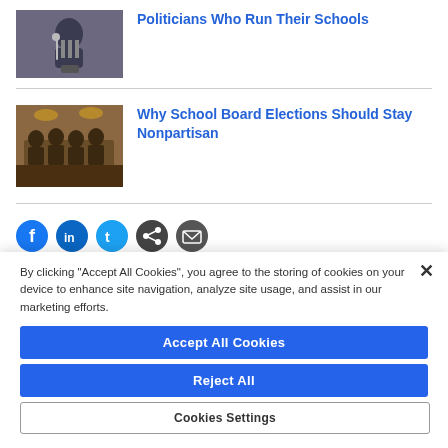[Figure (photo): Woman speaking at microphone press conference, thumbnail]
Politicians Who Run Their Schools
[Figure (photo): School board meeting with people seated at tables, thumbnail]
Why School Board Elections Should Stay Nonpartisan
[Figure (other): Social media share icons row]
By clicking "Accept All Cookies", you agree to the storing of cookies on your device to enhance site navigation, analyze site usage, and assist in our marketing efforts.
Accept All Cookies
Reject All
Cookies Settings